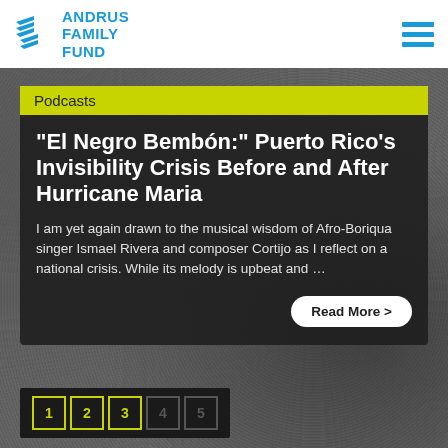ANDRUS FAMILY FUND
Podcasts
“El Negro Bembón:” Puerto Rico’s Invisibility Crisis Before and After Hurricane Maria
I am yet again drawn to the musical wisdom of Afro-Boriqua singer Ismael Rivera and composer Cortijo as I reflect on a national crisis. While its melody is upbeat and …
Read More >